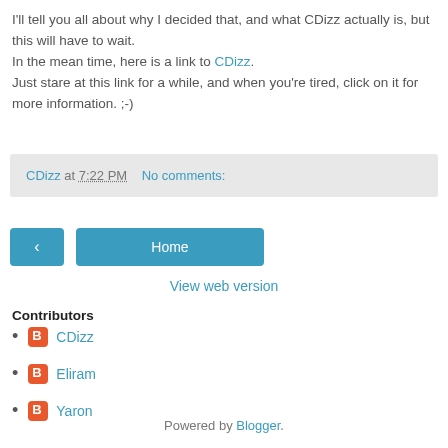I'll tell you all about why I decided that, and what CDizz actually is, but this will have to wait.
In the mean time, here is a link to CDizz.
Just stare at this link for a while, and when you're tired, click on it for more information. ;-)
CDizz at 7:22 PM   No comments:
[Figure (other): Navigation buttons: back arrow button and Home button]
View web version
Contributors
CDizz
Eliram
Yaron
Powered by Blogger.